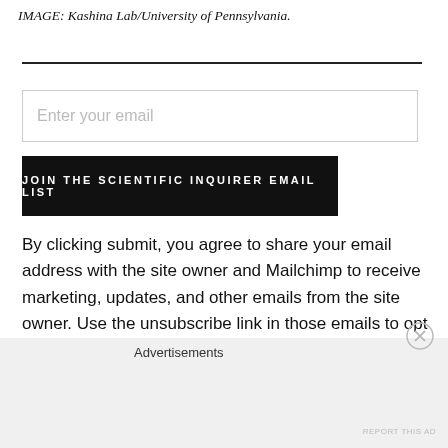IMAGE: Kashina Lab/University of Pennsylvania.
Enter your email
JOIN THE SCIENTIFIC INQUIRER EMAIL LIST
By clicking submit, you agree to share your email address with the site owner and Mailchimp to receive marketing, updates, and other emails from the site owner. Use the unsubscribe link in those emails to opt out at any time.
Advertisements
REPORT THIS AD